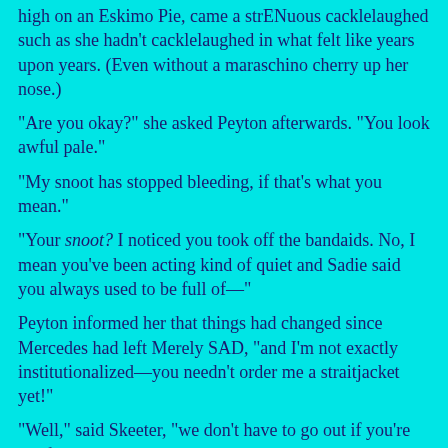high on an Eskimo Pie, came a strENuous cacklelaughed such as she hadn't cacklelaughed in what felt like years upon years.  (Even without a maraschino cherry up her nose.)
“Are you okay?” she asked Peyton afterwards.  “You look awful pale.”
“My snoot has stopped bleeding, if that’s what you mean.”
“Your snoot?  I noticed you took off the bandaids.  No, I mean you’ve been acting kind of quiet and Sadie said you always used to be full of—”
Peyton informed her that things had changed since Mercedes had left Merely SAD, “and I’m not exactly institutionalized—you needn’t order me a straitjacket yet!”
“Well,” said Skeeter, “we don’t have to go out if you’re not feeling well—”
“I expect I shall do, thank you.”
“...shall you?  That’s good.  I’m glad.  And like I say, there’s no better cure for the blues than to see a scary movie.”
She suggested Jaws 3-D (The Third Dimension is Terror) but